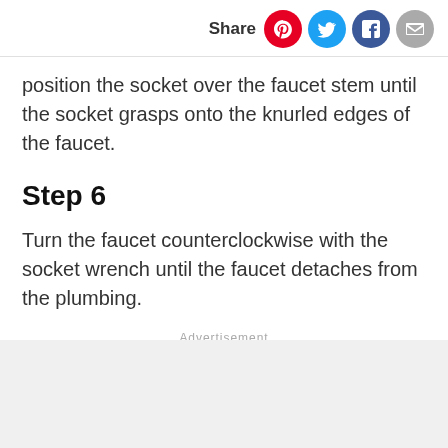Share
position the socket over the faucet stem until the socket grasps onto the knurled edges of the faucet.
Step 6
Turn the faucet counterclockwise with the socket wrench until the faucet detaches from the plumbing.
Advertisement